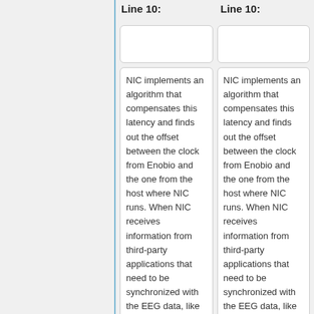Line 10:
Line 10:
NIC implements an algorithm that compensates this latency and finds out the offset between the clock from Enobio and the one from the host where NIC runs. When NIC receives information from third-party applications that need to be synchronized with the EEG data, like
NIC implements an algorithm that compensates this latency and finds out the offset between the clock from Enobio and the one from the host where NIC runs. When NIC receives information from third-party applications that need to be synchronized with the EEG data, like